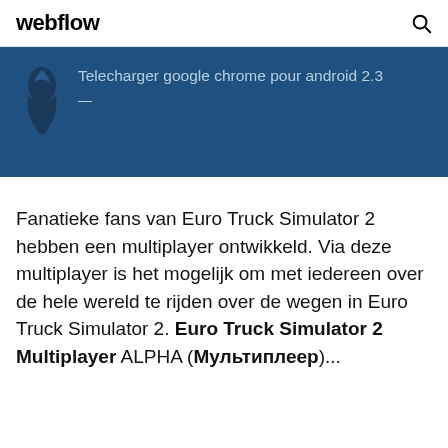webflow
[Figure (screenshot): Banner with dark blue background showing a flame/figure icon on the left and text 'Telecharger google chrome pour android 2.3' with a dash below]
Fanatieke fans van Euro Truck Simulator 2 hebben een multiplayer ontwikkeld. Via deze multiplayer is het mogelijk om met iedereen over de hele wereld te rijden over de wegen in Euro Truck Simulator 2. Euro Truck Simulator 2 Multiplayer ALPHA (Мультиплеер)...